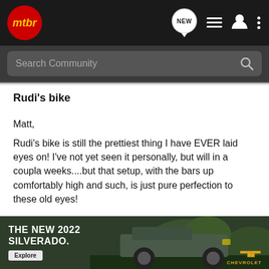mtbr — navigation bar with NEW, list, profile, and more icons, plus Search Community search bar
Rudi's bike
Matt,
Rudi's bike is still the prettiest thing I have EVER laid eyes on! I've not yet seen it personally, but will in a coupla weeks....but that setup, with the bars up comfortably high and such, is just pure perfection to these old eyes!
Someday soon, I'll come to my senses and plunk down some money so's you can build me a big ol' one just like that!
Rudi, I only have some good organic "Raisin Bran"... now I gotta go... t "cow milk" on
[Figure (photo): Chevrolet 2022 Silverado truck advertisement banner with dark green outdoor background, showing truck and Chevrolet logo]